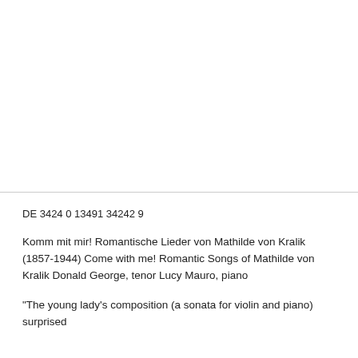DE 3424 0 13491 34242 9
Komm mit mir! Romantische Lieder von Mathilde von Kralik (1857-1944) Come with me! Romantic Songs of Mathilde von Kralik Donald George, tenor Lucy Mauro, piano
"The young lady's composition (a sonata for violin and piano) surprised